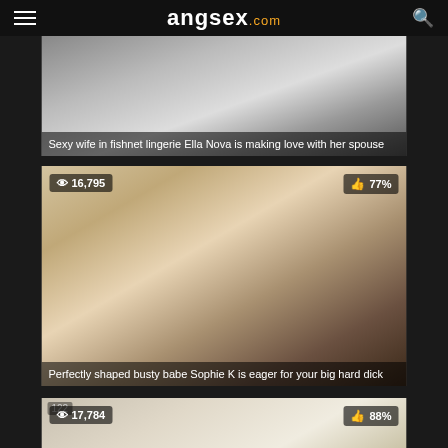angsex.com
[Figure (screenshot): Video thumbnail: Sexy wife in fishnet lingerie Ella Nova is making love with her spouse]
Sexy wife in fishnet lingerie Ella Nova is making love with her spouse
[Figure (screenshot): Video thumbnail showing a woman lifting her shirt, views: 16,795, rating: 77%. Perfectly shaped busty babe Sophie K is eager for your big hard dick]
Perfectly shaped busty babe Sophie K is eager for your big hard dick
[Figure (screenshot): Video thumbnail showing a blonde woman, views: 17,784, rating: 88%]